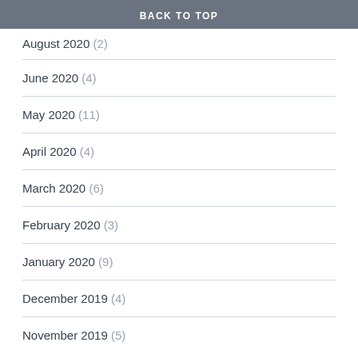BACK TO TOP
August 2020 (2)
June 2020 (4)
May 2020 (11)
April 2020 (4)
March 2020 (6)
February 2020 (3)
January 2020 (9)
December 2019 (4)
November 2019 (5)